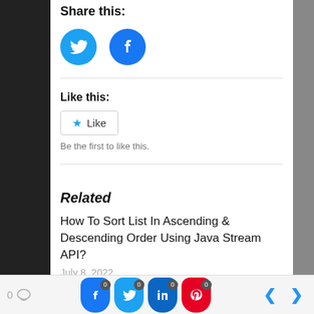Share this:
[Figure (illustration): Twitter and Facebook circular share buttons (blue icons)]
Like this:
[Figure (illustration): Like button with star icon]
Be the first to like this.
Related
How To Sort List In Ascending & Descending Order Using Java Stream API?
July 8, 2022
0  [comment icon]  [Facebook 0] [Twitter 0] [LinkedIn 0] [Pinterest 0]  < >